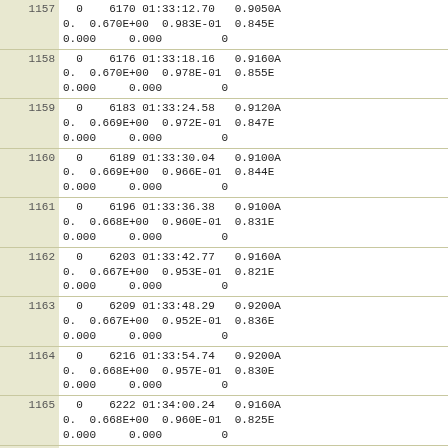| row | data |
| --- | --- |
| 1157 | 0    6170 01:33:12.70   0.9050A
0.  0.670E+00  0.983E-01  0.845E
0.000     0.000         0 |
| 1158 | 0    6176 01:33:18.16   0.9160A
0.  0.670E+00  0.978E-01  0.855E
0.000     0.000         0 |
| 1159 | 0    6183 01:33:24.58   0.9120A
0.  0.669E+00  0.972E-01  0.847E
0.000     0.000         0 |
| 1160 | 0    6189 01:33:30.04   0.9100A
0.  0.669E+00  0.966E-01  0.844E
0.000     0.000         0 |
| 1161 | 0    6196 01:33:36.38   0.9100A
0.  0.668E+00  0.960E-01  0.831E
0.000     0.000         0 |
| 1162 | 0    6203 01:33:42.77   0.9160A
0.  0.667E+00  0.953E-01  0.821E
0.000     0.000         0 |
| 1163 | 0    6209 01:33:48.29   0.9200A
0.  0.667E+00  0.952E-01  0.836E
0.000     0.000         0 |
| 1164 | 0    6216 01:33:54.74   0.9200A
0.  0.668E+00  0.957E-01  0.830E
0.000     0.000         0 |
| 1165 | 0    6222 01:34:00.24   0.9160A
0.  0.668E+00  0.960E-01  0.825E
0.000     0.000         0 |
| 1166 | 0    6229 01:34:06.65   0.9170A
0.  0.669E+00  0.964E-01  0.829E
0.000     0.000         0 |
| 1167 | 0    6235 01:34:12.16   0.9160A
0.  0.670E+00  0.964E-01  0.831E
0.000     0.000         0 |
| 1168 | 0    6242 01:34:18.56   0.9150A
0.  0.670E+00  0.960E-01  0.811E
0.000     0.000         0 |